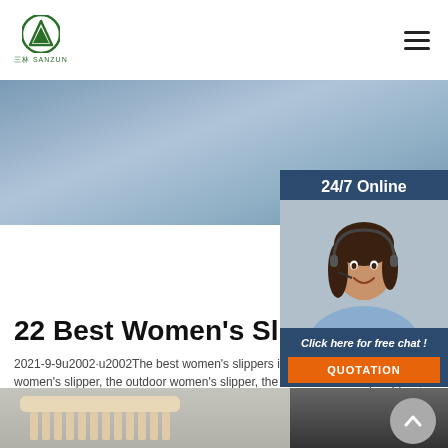三林 SANZUN — navigation bar with logo and hamburger menu
[Figure (photo): Hero banner with grey-blue sky/outdoor background image]
[Figure (photo): Chat widget with 24/7 Online text, photo of female customer service agent wearing headset, Click here for free chat text, and QUOTATION button]
22 Best Women's Slippers 2...
2021-9-9u2002·u2002The best women's slippers include the best open-toe women's slipper, the outdoor women's slipper, the best women's slip support, and ...
[Figure (other): Get Price green button]
[Figure (photo): Bottom image strip showing a wooden comb on grey fabric background with dark denim fabric on right side, and a scroll-up circular button]